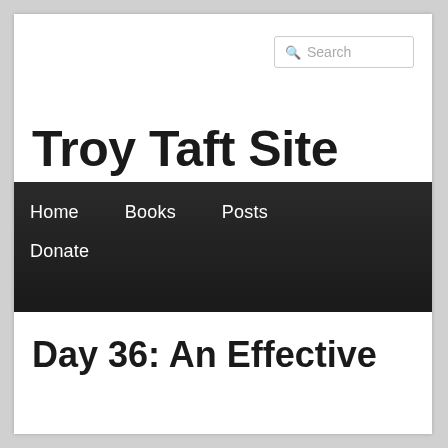Search
Troy Taft Site
Home
Books
Posts
Donate
Day 36: An Effective